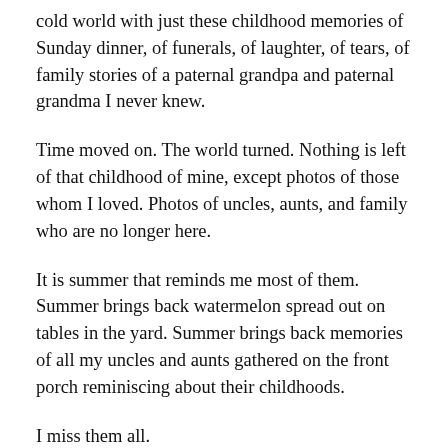cold world with just these childhood memories of Sunday dinner, of funerals, of laughter, of tears, of family stories of a paternal grandpa and paternal grandma I never knew.
Time moved on. The world turned. Nothing is left of that childhood of mine, except photos of those whom I loved. Photos of uncles, aunts, and family who are no longer here.
It is summer that reminds me most of them. Summer brings back watermelon spread out on tables in the yard. Summer brings back memories of all my uncles and aunts gathered on the front porch reminiscing about their childhoods.
I miss them all.
Time moves on. Our time on this earth is so very